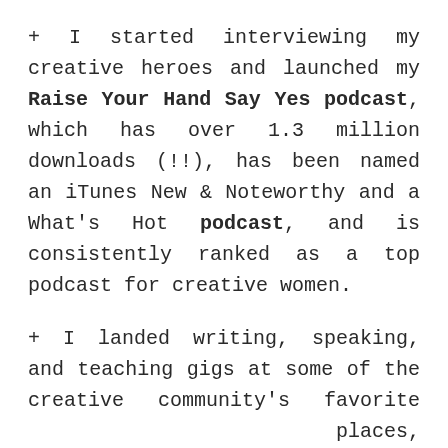+ I started interviewing my creative heroes and launched my Raise Your Hand Say Yes podcast, which has over 1.3 million downloads (!!), has been named an iTunes New & Noteworthy and a What's Hot podcast, and is consistently ranked as a top podcast for creative women.
+ I landed writing, speaking, and teaching gigs at some of the creative community's favorite places, including designformankind.com, Paper & Stitch, ALT Summit, Craftcation Conference, the Hello